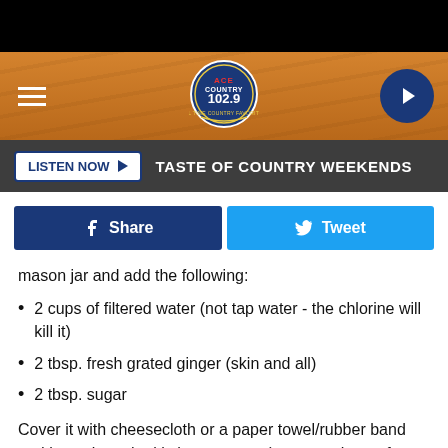[Figure (screenshot): Black top bar, wood-textured orange header with hamburger menu icon, ACE Country 102.9 radio station logo, and circular play button on dark blue background]
[Figure (screenshot): Dark grey listen bar with LISTEN NOW button and TASTE OF COUNTRY WEEKENDS text]
[Figure (screenshot): Facebook Share button (dark blue) and Twitter Tweet button (light blue)]
mason jar and add the following:
2 cups of filtered water (not tap water - the chlorine will kill it)
2 tbsp. fresh grated ginger (skin and all)
2 tbsp. sugar
Cover it with cheesecloth or a paper towel/rubber band and leave it on the kitchen counter (or somewhere of a similar tempe to feed it three
[Figure (screenshot): Lidl advertisement bar: More Food for Less Money]